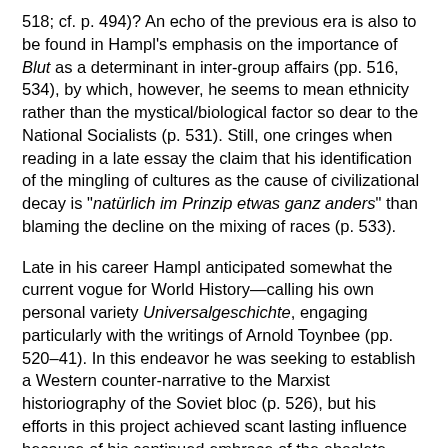518; cf. p. 494)? An echo of the previous era is also to be found in Hampl's emphasis on the importance of Blut as a determinant in inter-group affairs (pp. 516, 534), by which, however, he seems to mean ethnicity rather than the mystical/biological factor so dear to the National Socialists (p. 531). Still, one cringes when reading in a late essay the claim that his identification of the mingling of cultures as the cause of civilizational decay is "natürlich im Prinzip etwas ganz anders" than blaming the decline on the mixing of races (p. 533).
Late in his career Hampl anticipated somewhat the current vogue for World History—calling his own personal variety Universalgeschichte, engaging particularly with the writings of Arnold Toynbee (pp. 520–41). In this endeavor he was seeking to establish a Western counter-narrative to the Marxist historiography of the Soviet bloc (p. 526), but his efforts in this project achieved scant lasting influence because of his continued embrace of the obsolete principles previously mentioned. In sum, Deglau judges Hampl to have been "ein eher konservativer Modernisierer" (p. 562) as well as a "Kulturhistoriker par excellence" (p. 3).